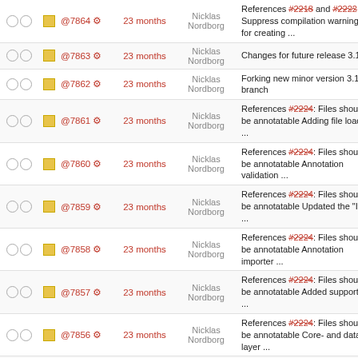|  |  | ID | Age | Author | Message |
| --- | --- | --- | --- | --- | --- |
| ○ ○ | ■ | @7864 ⚙ | 23 months | Nicklas Nordborg | References #2218 and #2222. Suppress compilation warnings for creating ... |
| ○ ○ | ■ | @7863 ⚙ | 23 months | Nicklas Nordborg | Changes for future release 3.18 |
| ○ ○ | ■ | @7862 ⚙ | 23 months | Nicklas Nordborg | Forking new minor version 3.17 branch |
| ○ ○ | ■ | @7861 ⚙ | 23 months | Nicklas Nordborg | References #2224: Files should be annotatable Adding file loading ... |
| ○ ○ | ■ | @7860 ⚙ | 23 months | Nicklas Nordborg | References #2224: Files should be annotatable Annotation validation ... |
| ○ ○ | ■ | @7859 ⚙ | 23 months | Nicklas Nordborg | References #2224: Files should be annotatable Updated the "Item ... |
| ○ ○ | ■ | @7858 ⚙ | 23 months | Nicklas Nordborg | References #2224: Files should be annotatable Annotation importer ... |
| ○ ○ | ■ | @7857 ⚙ | 23 months | Nicklas Nordborg | References #2224: Files should be annotatable Added support for ... |
| ○ ○ | ■ | @7856 ⚙ | 23 months | Nicklas Nordborg | References #2224: Files should be annotatable Core- and data-layer ... |
| ○ ○ | ■ | @7855 ⚙ | 23 months | Nicklas Nordborg | References #2222: Add support for manually adding any-to-any link ... |
| ○ ○ | ■ | @7854 ⚙ | 23 months | Nicklas Nordborg | References #2222: Add support for manually ... |